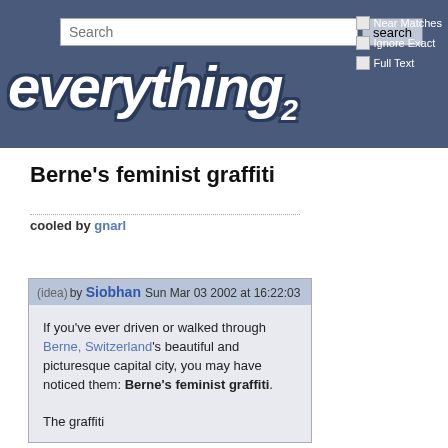everything2 — Search bar with Near Matches, Ignore Exact, Full Text checkboxes
Berne's feminist graffiti
cooled by gnarl
(idea) by Siobhan  Sun Mar 03 2002 at 16:22:03
If you've ever driven or walked through Berne, Switzerland's beautiful and picturesque capital city, you may have noticed them: Berne's feminist graffiti.

The graffiti